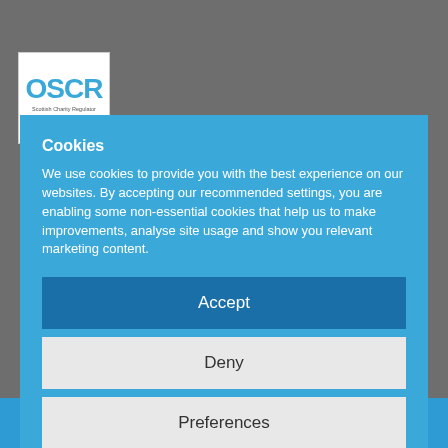[Figure (logo): OSCR Scottish Charity Regulator logo with www.oscr.org.uk url]
The Scottish Wildlife Trust is a Scottish
Cookies
We use cookies to provide you with the best experience on our websites. By accepting our recommended settings, you are enabling some non-essential cookies that help us to make improvements, analyse site usage and show you relevant marketing content.
Accept
BACK TO TOP
Deny
Preferences
Cookie Policy   Privacy notice